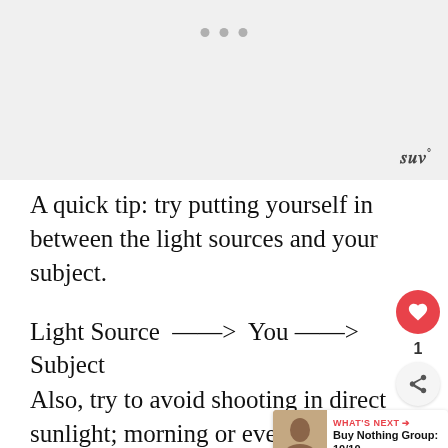[Figure (other): Light gray placeholder image area with three gray dots (carousel indicators) at the top center and a stylized 'w°' watermark at the bottom right]
A quick tip: try putting yourself in between the light sources and your subject.
Light Source  ——>  You ——> Subject
Also, try to avoid shooting in direct sunlight; morning or evening light is good, and to shoot in the middle of the day, look for some shade.